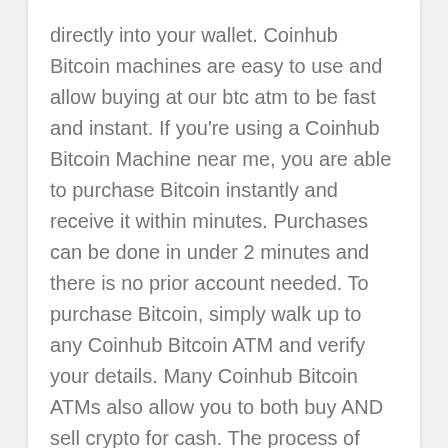directly into your wallet. Coinhub Bitcoin machines are easy to use and allow buying at our btc atm to be fast and instant. If you're using a Coinhub Bitcoin Machine near me, you are able to purchase Bitcoin instantly and receive it within minutes. Purchases can be done in under 2 minutes and there is no prior account needed. To purchase Bitcoin, simply walk up to any Coinhub Bitcoin ATM and verify your details. Many Coinhub Bitcoin ATMs also allow you to both buy AND sell crypto for cash. The process of buying Bitcoin using one of our Bitcoin ATMs is as follows: First locate the closest Bitcoin ATM near you in your city by visiting our Coinhub Bitcoin ATM Locator. Enter your phone number and walk up to the machine. You will then verify your phone with a code and scan your bitcoin wallet. Enter each bill one at a time to determine the amount you wish to purchase. After that, confirm the purchase by entering the bitcoin atm. Bitcoin is then